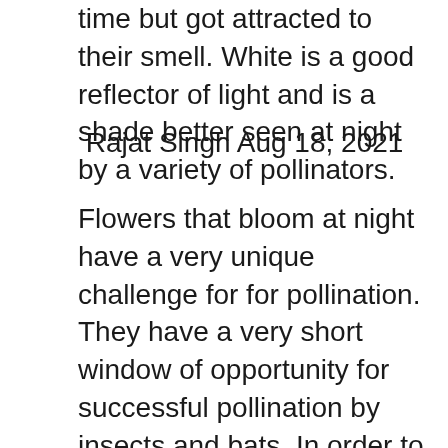time but got attracted to their smell. White is a good reflector of light and is a shade better seen at night by a variety of pollinators.
Rajat Singh Aug 18, 2021
Flowers that bloom at night have a very unique challenge for for pollination. They have a very short window of opportunity for successful pollination by insects and bats. In order to maximize their successful pollination this flowers are are naturally evolved which certain features. The two of features are nocturnal flowers generally have mild fragrance and White coloured flowers. In flowers large flowers of the nocturnal species, pollination generally occurs through bats. And no bats will be attracted to a plant/flower without nectar or any other food resources. The mild fragrance attracts insects and moths. The bats come in pursuit in bats and moths and the ensuing melee of the bats and the insects is when pollination occurs. WHITE COLOUR AT